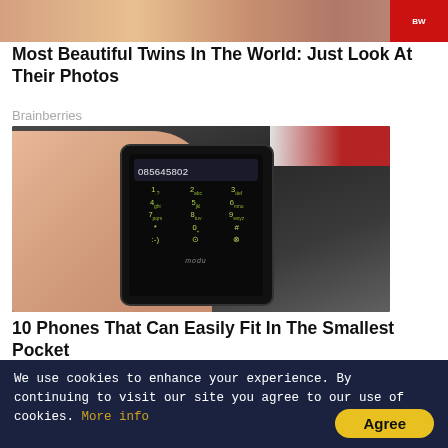[Figure (photo): Top portion of a photo showing twins — cropped at the top, showing hair and partial faces]
Most Beautiful Twins In The World: Just Look At Their Photos
Brainberries
[Figure (photo): A hand holding a very small black Modu phone showing a numeric keypad with the number 085645802 on screen]
10 Phones That Can Easily Fit In The Smallest Pocket
Brainberries
[Figure (photo): Bottom row: partial thumbnail images and text 'An Easy Way To Get']
We use cookies to enhance your experience. By continuing to visit our site you agree to our use of cookies. More info